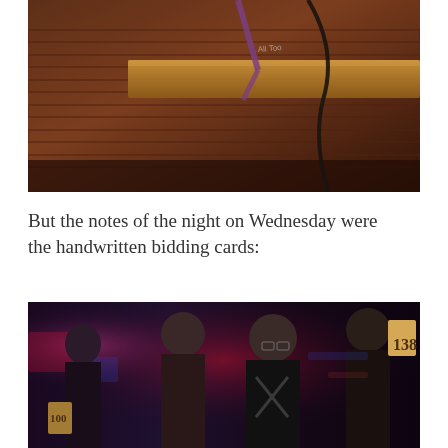[Figure (photo): Close-up photo of a wooden shelf or ledge against a brick wall, with a purple strap and black cable visible. Graffiti/writing on the wood surface.]
But the notes of the night on Wednesday were the handwritten bidding cards:
[Figure (photo): Photo of people at a bar/venue at night. A man in glasses and black t-shirt stands center. Another man to the right holds up a handwritten bidding card with the number 138. Another person holds a bidding card on the left.]